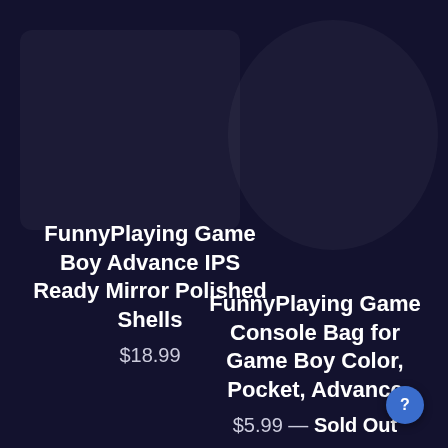FunnyPlaying Game Boy Advance IPS Ready Mirror Polished Shells
$18.99
FunnyPlaying Game Console Bag for Game Boy Color, Pocket, Advance
$5.99 — Sold Out